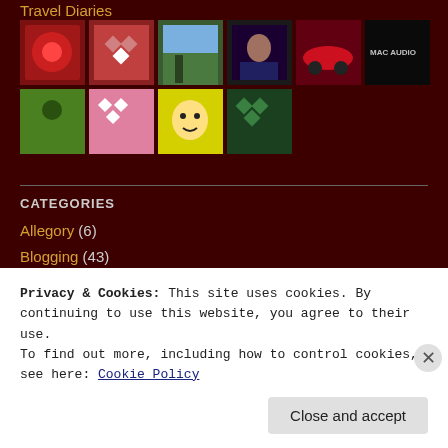Travel Diaries
[Figure (photo): Grid of thumbnail images: row 1 has red flowers, geometric pattern, outdoor scene with person, woman portrait, red sports car, MAC AUDIO logo; row 2 has green sport silhouette, pink pattern, cartoon avatar on yellow, green geometric pattern]
CATEGORIES
Allegory (6)
Blogging (43)
Fiction (93)
Games (10)
History (6)
Ideology (59)
Privacy & Cookies: This site uses cookies. By continuing to use this website, you agree to their use.
To find out more, including how to control cookies, see here: Cookie Policy